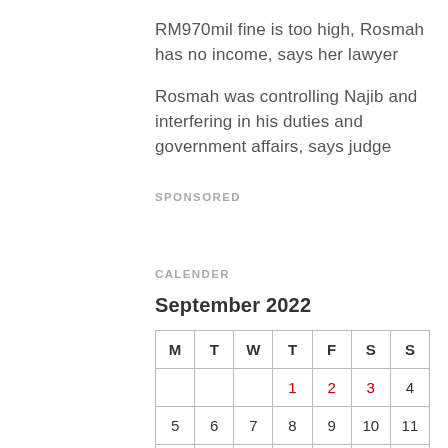RM970mil fine is too high, Rosmah has no income, says her lawyer
Rosmah was controlling Najib and interfering in his duties and government affairs, says judge
SPONSORED
CALENDER
September 2022
| M | T | W | T | F | S | S |
| --- | --- | --- | --- | --- | --- | --- |
|  |  |  | 1 | 2 | 3 | 4 |
| 5 | 6 | 7 | 8 | 9 | 10 | 11 |
| 12 | 13 | 14 | 15 | 16 | 17 | 18 |